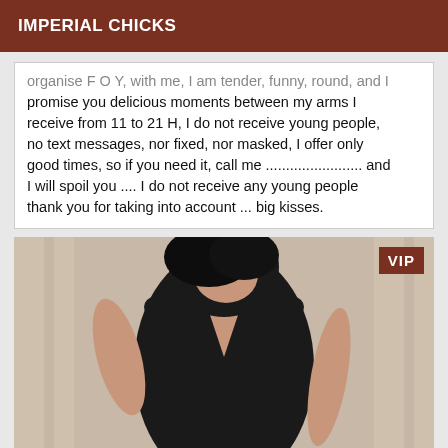IMPERIAL CHICKS
organise F O Y, with me, I am tender, funny, round, and I promise you delicious moments between my arms I receive from 11 to 21 H, I do not receive young people, no text messages, nor fixed, nor masked, I offer only good times, so if you need it, call me ........................ and I will spoil you .... I do not receive any young people thank you for taking into account ... big kisses.
[Figure (photo): Woman in a black dress posing, with a VIP badge in the top right corner]